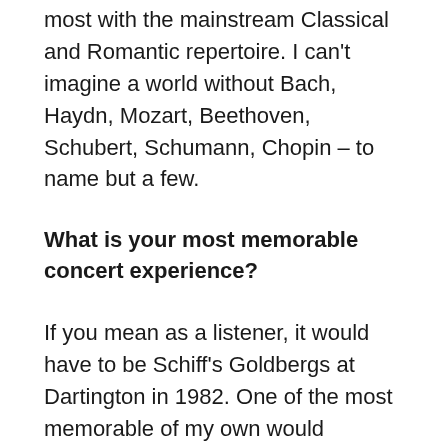most with the mainstream Classical and Romantic repertoire. I can't imagine a world without Bach, Haydn, Mozart, Beethoven, Schubert, Schumann, Chopin – to name but a few.
What is your most memorable concert experience?
If you mean as a listener, it would have to be Schiff's Goldbergs at Dartington in 1982. One of the most memorable of my own would probably be playing the same work in Perth, Australia in the late 90's – in front of an